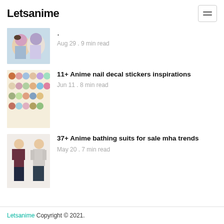Letsanime
. Aug 29 . 9 min read
11+ Anime nail decal stickers inspirations
Jun 11 . 8 min read
37+ Anime bathing suits for sale mha trends
May 20 . 7 min read
Letsanime Copyright © 2021.